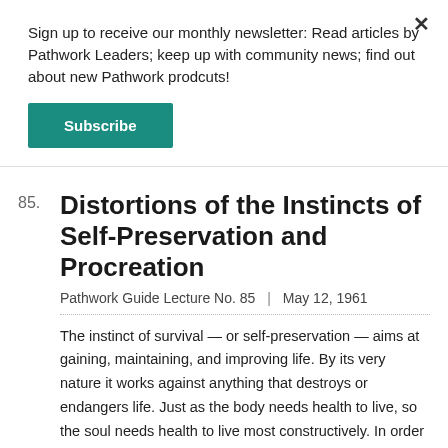Sign up to receive our monthly newsletter: Read articles by Pathwork Leaders; keep up with community news; find out about new Pathwork prodcuts!
Subscribe
85. Distortions of the Instincts of Self-Preservation and Procreation
Pathwork Guide Lecture No. 85  |  May 12, 1961
The instinct of survival — or self-preservation — aims at gaining, maintaining, and improving life. By its very nature it works against anything that destroys or endangers life. Just as the body needs health to live, so the soul needs health to live most constructively. In order to live, one needs to be safe from destruction and damage.
Read Online   PDF   Free Audio